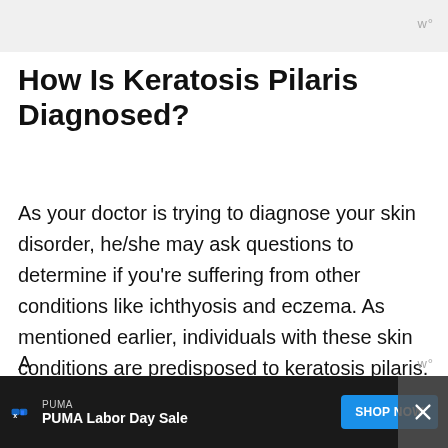w°
How Is Keratosis Pilaris Diagnosed?
As your doctor is trying to diagnose your skin disorder, he/she may ask questions to determine if you're suffering from other conditions like ichthyosis and eczema. As mentioned earlier, individuals with these skin conditions are predisposed to keratosis pilaris.
[Figure (screenshot): Advertisement banner at the bottom: PUMA Labor Day Sale with blue SHOP NOW button and close X button on dark background]